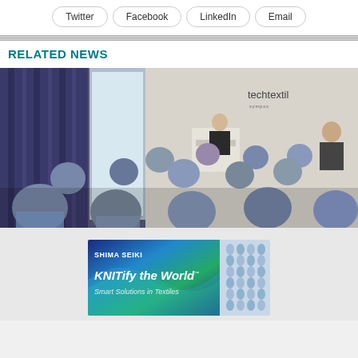Twitter
Facebook
LinkedIn
Email
RELATED NEWS
[Figure (photo): Conference room photo with attendees seated watching a speaker at a podium, 'techtextil' branding on back wall.]
[Figure (photo): Advertisement for Shima Seiki: 'SHIMA SEIKI KNITify the World™ Smart Solutions in Textiles' with colorful gradient background and knit texture image.]